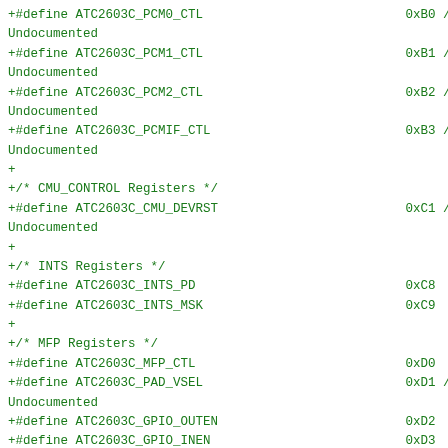+#define ATC2603C_PCM0_CTL                           0xB0 // Undocumented
+#define ATC2603C_PCM1_CTL                           0xB1 // Undocumented
+#define ATC2603C_PCM2_CTL                           0xB2 // Undocumented
+#define ATC2603C_PCMIF_CTL                          0xB3 // Undocumented
+
+/* CMU_CONTROL Registers */
+#define ATC2603C_CMU_DEVRST                         0xC1 // Undocumented
+
+/* INTS Registers */
+#define ATC2603C_INTS_PD                            0xC8
+#define ATC2603C_INTS_MSK                           0xC9
+
+/* MFP Registers */
+#define ATC2603C_MFP_CTL                            0xD0
+#define ATC2603C_PAD_VSEL                           0xD1 // Undocumented
+#define ATC2603C_GPIO_OUTEN                         0xD2
+#define ATC2603C_GPIO_INEN                          0xD3
+#define ATC2603C_GPIO_DAT                           0xD4
+#define ATC2603C_PAD_DRV                            0xD5
+#define ATC2603C_PAD_EN
0xD6
+#define ATC2603C_DEBUG_SEL                          0xD7 // Undocumented
+#define ATC2603C_DEBUG_IE                           0xD8 //